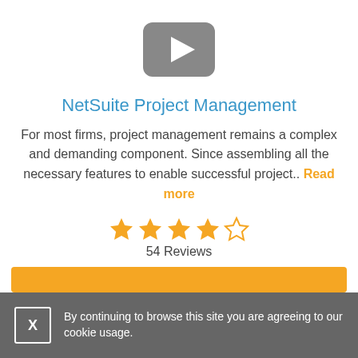[Figure (illustration): Gray rounded square video play button icon with a white right-pointing triangle]
NetSuite Project Management
For most firms, project management remains a complex and demanding component. Since assembling all the necessary features to enable successful project.. Read more
[Figure (other): 4 filled orange stars and 1 empty/outline orange star representing a rating]
54 Reviews
Watch Demo
By continuing to browse this site you are agreeing to our cookie usage.